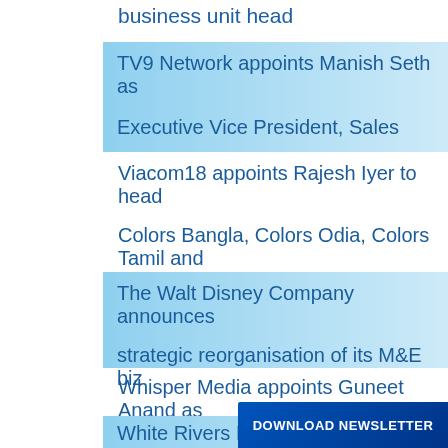business unit head
TV9 Network appoints Manish Seth as Executive Vice President, Sales
Viacom18 appoints Rajesh Iyer to head Colors Bangla, Colors Odia, Colors Tamil and Colors Gujarati
The Walt Disney Company announces strategic reorganisation of its M&E biz
Whisper Media appoints Guneet Anand as Global Revenue Head
White Rivers Media app
DOWNLOAD NEWSLETTER